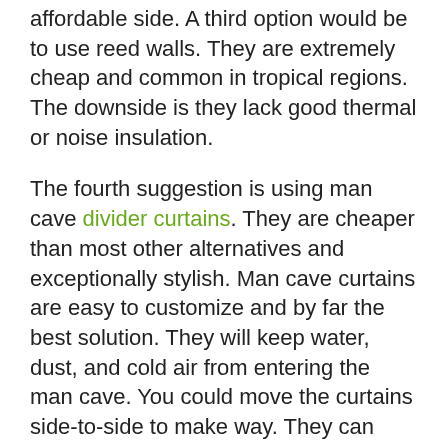affordable side. A third option would be to use reed walls. They are extremely cheap and common in tropical regions. The downside is they lack good thermal or noise insulation.
The fourth suggestion is using man cave divider curtains. They are cheaper than most other alternatives and exceptionally stylish. Man cave curtains are easy to customize and by far the best solution. They will keep water, dust, and cold air from entering the man cave. You could move the curtains side-to-side to make way. They can also have a door panel with strips.
Insulation. Speaking of insulation, most of it comes from the walls and floor. One tip worth